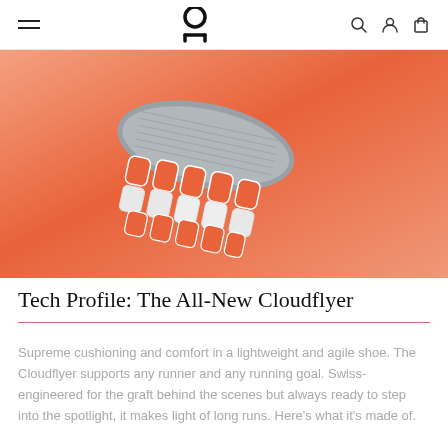On Running navigation bar with hamburger menu, logo, search, account, and cart icons
[Figure (photo): Close-up product photo of the sole of an On Running Cloudflyer shoe showing the distinctive CloudTec cushioning pods in grey and orange, shot from below against a coral/orange gradient background.]
Tech Profile: The All-New Cloudflyer
Supreme cushioning and comfort in a lightweight and agile shoe. The Cloudflyer supports any runner and any running goal. Swiss-engineered for the graft behind the scenes but always ready to step into the spotlight, it makes light of long runs. Here’s what it’s made of.